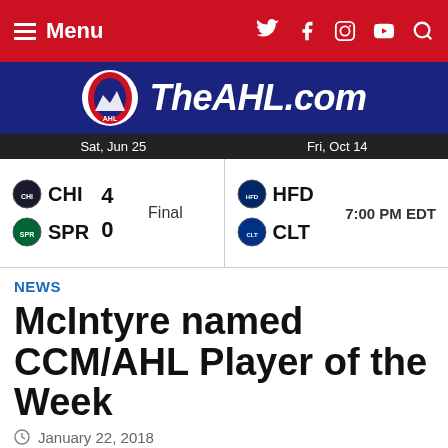Menu | TheAHL.com
[Figure (logo): TheAHL.com logo with AHL shield and italic text on dark blue background]
| Date | Home | Score | Status | Away | Time |
| --- | --- | --- | --- | --- | --- |
| Sat, Jun 25 | CHI 4 / SPR 0 | Final |  |  |  |
| Fri, Oct 14 | HFD / CLT |  | 7:00 PM EDT |  |  |
NEWS
McIntyre named CCM/AHL Player of the Week
January 22, 2018
[Figure (photo): Partial photo of hockey equipment, gold/red color scheme at bottom of page]